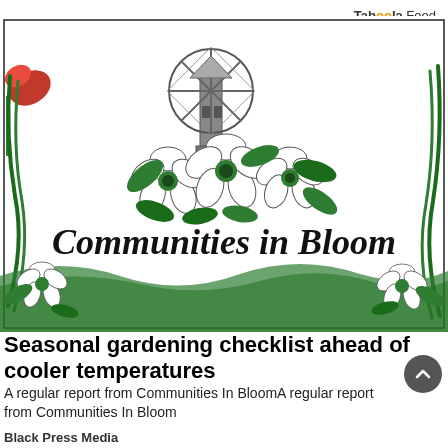Taboola Feed
[Figure (illustration): Communities in Bloom logo with decorative floral border illustration featuring white dogwood flowers, green leaves, a windmill, and ribbon swirls, with 'Communities in Bloom' text in script font]
Seasonal gardening checklist ahead of cooler temperatures
A regular report from Communities In BloomA regular report from Communities In Bloom
Black Press Media